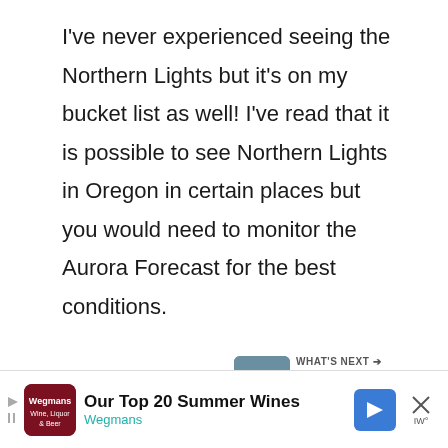I've never experienced seeing the Northern Lights but it's on my bucket list as well! I've read that it is possible to see Northern Lights in Oregon in certain places but you would need to monitor the Aurora Forecast for the best conditions.

Cheers,
Laura
[Figure (screenshot): Heart/like button (teal circle with heart icon), count '235K', and share button below it on the right side of the page]
[Figure (screenshot): WHAT'S NEXT panel with thumbnail image and text '30 Incredible Things To S...' and a Reply link in teal below]
[Figure (screenshot): Advertisement bar at bottom: play icon, Wegmans Wine Liquor & Beer logo, 'Our Top 20 Summer Wines' title, 'Wegmans' subtitle in teal, navigation arrow icon, close X button with IW logo]